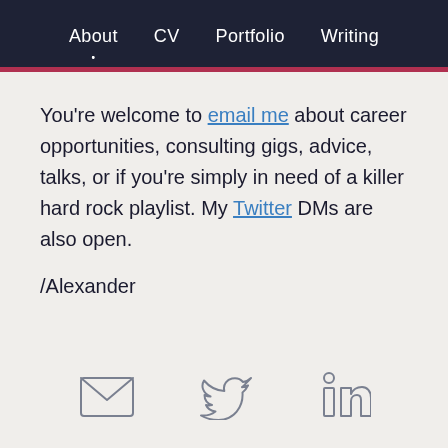About  CV  Portfolio  Writing
You're welcome to email me about career opportunities, consulting gigs, advice, talks, or if you're simply in need of a killer hard rock playlist. My Twitter DMs are also open.
/Alexander
[Figure (illustration): Three social media icons: email/envelope, Twitter bird, LinkedIn logo, displayed in a row]